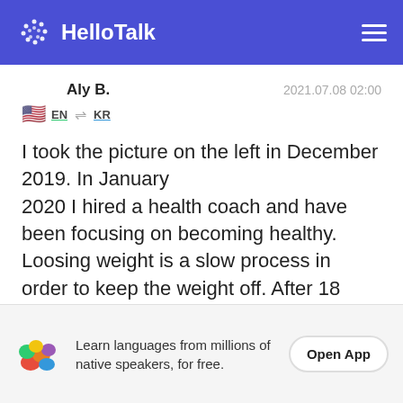HelloTalk
Aly B.    2021.07.08 02:00
EN → KR
I took the picture on the left in December 2019. In January
2020 I hired a health coach and have been focusing on becoming healthy. Loosing weight is a slow process in order to keep the weight off. After 18 months of hard work I have lost over 100 lbs and feel amazing. I am not done loosing
Learn languages from millions of native speakers, for free.